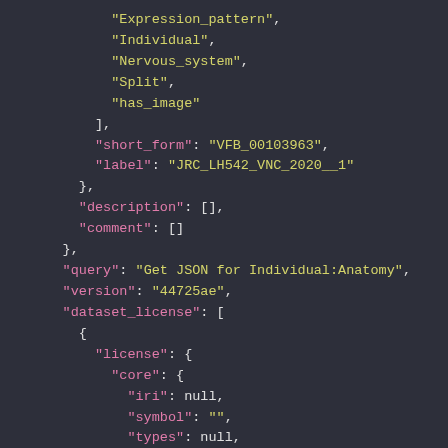JSON/code snippet showing Expression_pattern, Individual, Nervous_system, Split, has_image fields, short_form, label, description, comment, query, version, dataset_license with license core containing iri, symbol, types fields